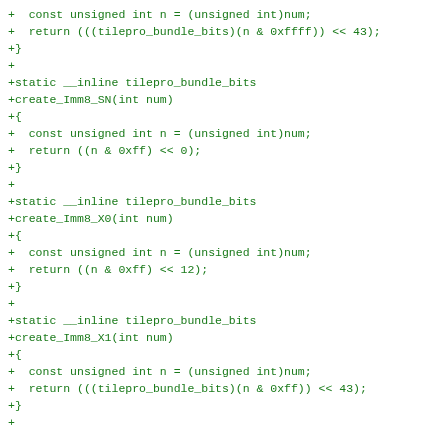+  const unsigned int n = (unsigned int)num;
+  return (((tilepro_bundle_bits)(n & 0xffff)) << 43);
+}
+
+static __inline tilepro_bundle_bits
+create_Imm8_SN(int num)
+{
+  const unsigned int n = (unsigned int)num;
+  return ((n & 0xff) << 0);
+}
+
+static __inline tilepro_bundle_bits
+create_Imm8_X0(int num)
+{
+  const unsigned int n = (unsigned int)num;
+  return ((n & 0xff) << 12);
+}
+
+static __inline tilepro_bundle_bits
+create_Imm8_X1(int num)
+{
+  const unsigned int n = (unsigned int)num;
+  return (((tilepro_bundle_bits)(n & 0xff)) << 43);
+}
+